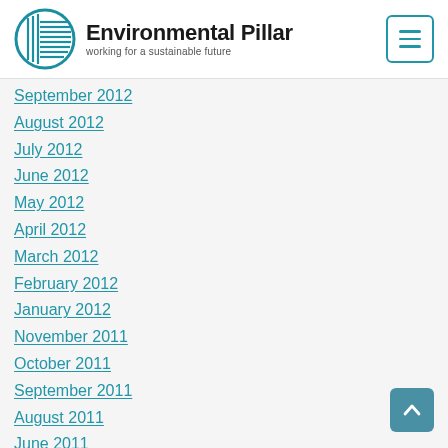[Figure (logo): Environmental Pillar logo with teal circular icon and text 'Environmental Pillar — working for a sustainable future']
September 2012
August 2012
July 2012
June 2012
May 2012
April 2012
March 2012
February 2012
January 2012
November 2011
October 2011
September 2011
August 2011
June 2011
May 2011
April 2011